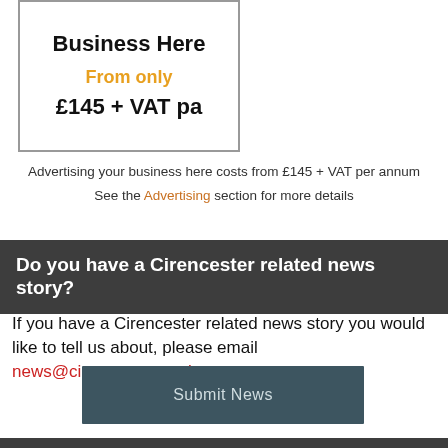[Figure (illustration): Advertisement box showing 'Business Here', 'From only', '£145 + VAT pa' text in a bordered rectangle]
Advertising your business here costs from £145 + VAT per annum
See the Advertising section for more details
Do you have a Cirencester related news story?
If you have a Cirencester related news story you would like to tell us about, please email news@cirencester.co.uk
Submit News